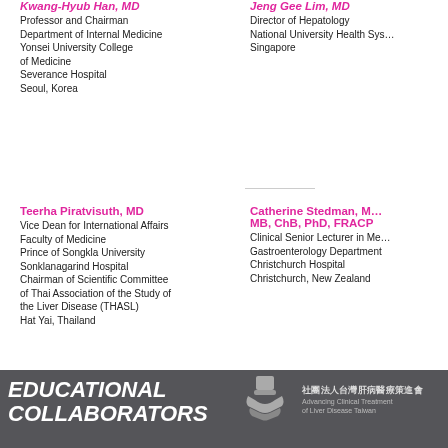Kwang-Hyub Han, MD
Professor and Chairman
Department of Internal Medicine
Yonsei University College of Medicine
Severance Hospital
Seoul, Korea
Jeng Gee Lim, MD
Director of Hepatology
National University Health System
Singapore
Teerha Piratvisuth, MD
Vice Dean for International Affairs
Faculty of Medicine
Prince of Songkla University
Sonklanagarind Hospital
Chairman of Scientific Committee of Thai Association of the Study of the Liver Disease (THASL)
Hat Yai, Thailand
Catherine Stedman, MB, ChB, PhD, FRACP
Clinical Senior Lecturer in Medicine
Gastroenterology Department
Christchurch Hospital
Christchurch, New Zealand
EDUCATIONAL COLLABORATORS
[Figure (logo): Handshake logo with Chinese text: 社團法人台灣肝病醫療策進會, Advancing Clinical Treatment of Liver Disease Taiwan]